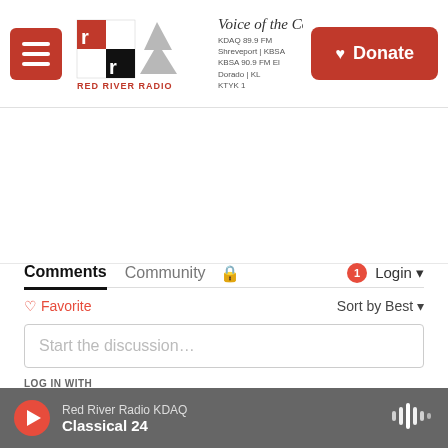Red River Radio — Voice of the Community | KDAQ 89.9 FM Shreveport | KBSA 90.9 FM El Dorado | KTYK | Donate
Comments  Community  🔒  1  Login
♡ Favorite    Sort by Best
Start the discussion…
LOG IN WITH
[Figure (infographic): Social login icons: Disqus (D), Facebook (f), Twitter bird, Google (G) in colored circles]
OR SIGN UP WITH DISQUS ?
▶  Red River Radio KDAQ  Classical 24